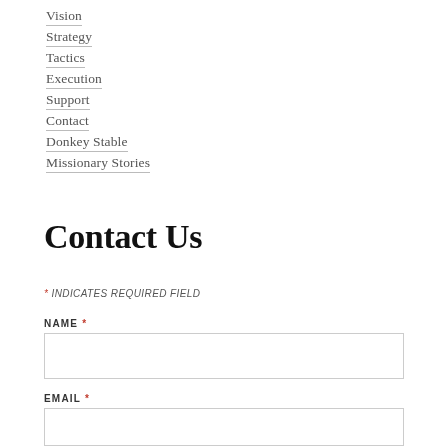Vision
Strategy
Tactics
Execution
Support
Contact
Donkey Stable
Missionary Stories
Contact Us
* INDICATES REQUIRED FIELD
NAME *
EMAIL *